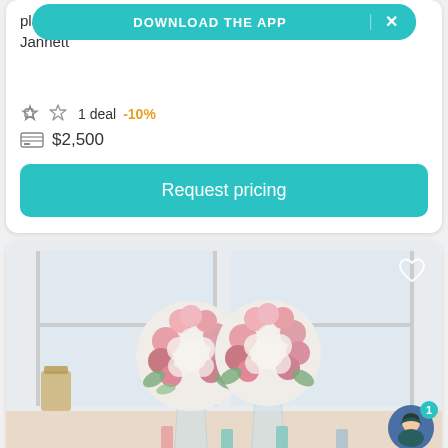planning company in Miami Lakes, Florida. Owner Jannette
DOWNLOAD THE APP  ×
1 deal  -10%
$2,500
Request pricing
[Figure (photo): Two large elegant floral centerpiece arrangements with white hydrangeas and pink roses on tall glass vases, with candles on the table in a bright white room.]